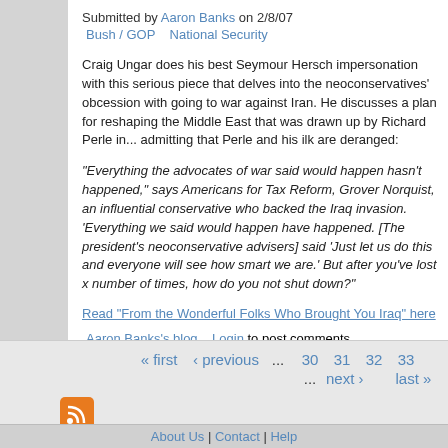Submitted by Aaron Banks on 2/8/07
Bush / GOP    National Security
Craig Ungar does his best Seymour Hersch impersonation with this serious piece that delves into the neoconservatives' obcession with going to war against Iran. He discusses a plan for reshaping the Middle East that was drawn up by Richard Perle in... admitting that Perle and his ilk are deranged:
"Everything the advocates of war said would happen hasn't happened," says Americans for Tax Reform, Grover Norquist, an influential conservative who backed the Iraq invasion. 'Everything we said would happen have happened. [The president's neoconservative advisers] said 'Just let us do this and everyone will see how smart we are.' But after you've lost x number of times, how do you not shut down?"
Read "From the Wonderful Folks Who Brought You Iraq" here
Aaron Banks's blog    Login to post comments
« first  ‹ previous  ...  30  31  32  33  ...  next ›  last »
Some Rights Reserved 2008 - Present, NDN. This work is licensed under a Creative Commons Attribution-Noncommercial Works 3.0 United States License.
About Us | Contact | Help